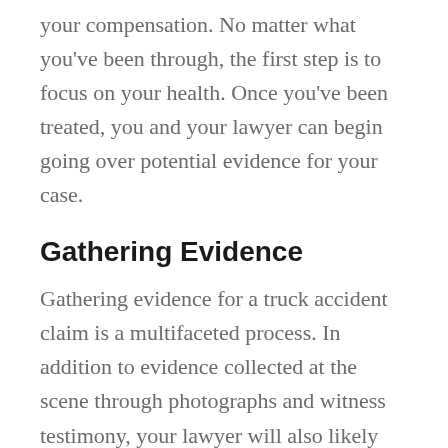your compensation. No matter what you've been through, the first step is to focus on your health. Once you've been treated, you and your lawyer can begin going over potential evidence for your case.
Gathering Evidence
Gathering evidence for a truck accident claim is a multifaceted process. In addition to evidence collected at the scene through photographs and witness testimony, your lawyer will also likely request to review the information from the truck's black box—which contains